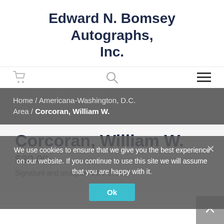Edward N. Bomsey Autographs, Inc.
[Figure (other): Navigation bar with shopping cart icon, search icon, and hamburger menu icon]
Home / Americana-Washington, D.C. Area / Corcoran, William W.
Corcoran, William W.
$30.00
Signature and unsigned CDV of the
We use cookies to ensure that we give you the best experience on our website. If you continue to use this site we will assume that you are happy with it.
Ok